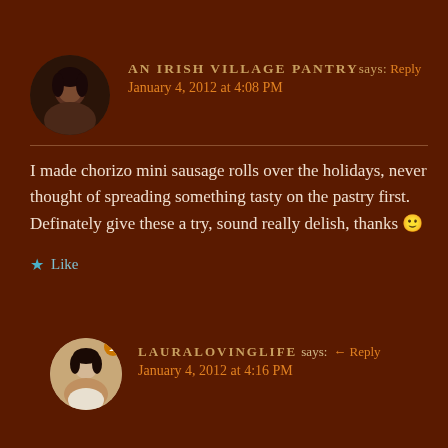AN IRISH VILLAGE PANTRY says: Reply — January 4, 2012 at 4:08 PM
I made chorizo mini sausage rolls over the holidays, never thought of spreading something tasty on the pastry first. Definately give these a try, sound really delish, thanks 🙂
Like
LAURALOVINGLIFE says: Reply — January 4, 2012 at 4:16 PM